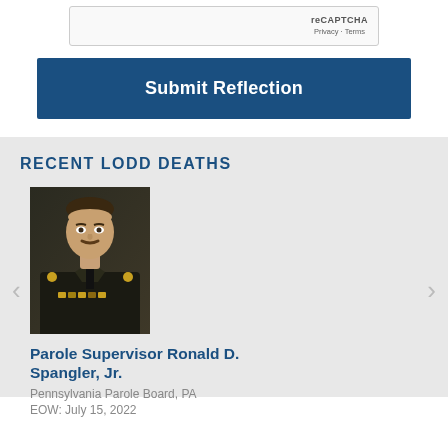[Figure (screenshot): reCAPTCHA widget with 'reCAPTCHA' logo and 'Privacy - Terms' links]
Submit Reflection
RECENT LODD DEATHS
[Figure (photo): Official portrait photo of Parole Supervisor Ronald D. Spangler, Jr. in military-style dress uniform with medals]
Parole Supervisor Ronald D. Spangler, Jr.
Pennsylvania Parole Board, PA
EOW: July 15, 2022